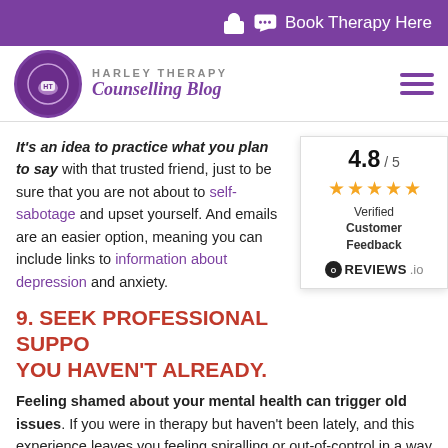Book Therapy Here
HARLEY THERAPY Counselling Blog
It's an idea to practice what you plan to say with that trusted friend, just to be sure that you are not about to self-sabotage and upset yourself. And emails are an easier option, meaning you can include links to information about depression and anxiety.
9. SEEK PROFESSIONAL SUPPORT IF YOU HAVEN'T ALREADY.
Feeling shamed about your mental health can trigger old issues. If you were in therapy but haven't been lately, and this experience leaves you feeling spiralling or out-of-control in a way that worsens doesn't change after several weeks, reach out for support.
[Figure (infographic): Reviews.io widget showing 4.8 out of 5 stars rating with orange stars and Verified Customer Feedback badge]